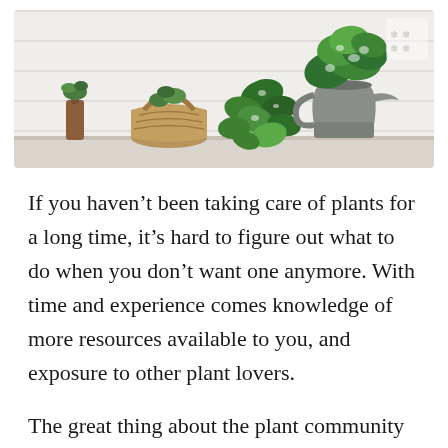[Figure (photo): A shelf with houseplants including green leafy plants in a metal watering can pitcher, a wicker basket, a small brown glass bottle with a plant, all against a white wooden wall background. A decorative logo/watermark is visible in the top right corner.]
If you haven't been taking care of plants for a long time, it's hard to figure out what to do when you don't want one anymore. With time and experience comes knowledge of more resources available to you, and exposure to other plant lovers.
The great thing about the plant community is that the old cliche is true: one person's trash is truly